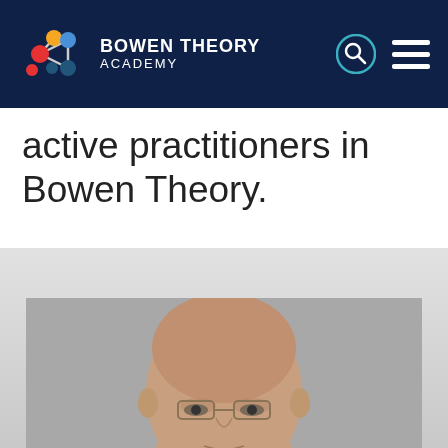BOWEN THEORY ACADEMY
active practitioners in Bowen Theory.
[Figure (photo): Headshot portrait of a bald elderly man wearing glasses, photographed against a gray background]